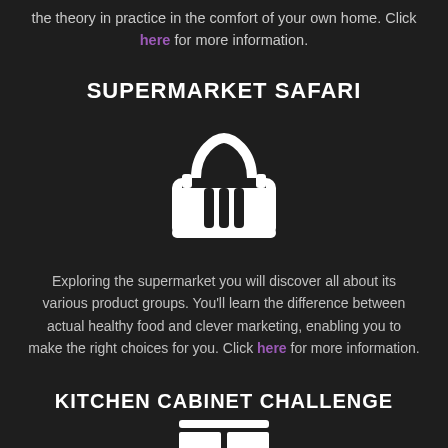the theory in practice in the comfort of your own home. Click here for more information.
SUPERMARKET SAFARI
[Figure (illustration): White shopping basket icon on dark background]
Exploring the supermarket you will discover all about its various product groups. You'll learn the difference between actual healthy food and clever marketing, enabling you to make the right choices for you. Click here for more information.
KITCHEN CABINET CHALLENGE
[Figure (illustration): Partial white kitchen/cabinet icon at bottom of page]